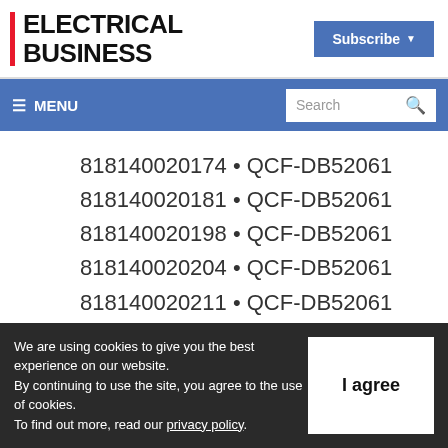ELECTRICAL BUSINESS | Subscribe
≡ MENU | Search
818140020174 • QCF-DB52061
818140020181 • QCF-DB52061
818140020198 • QCF-DB52061
818140020204 • QCF-DB52061
818140020211 • QCF-DB52061
We are using cookies to give you the best experience on our website. By continuing to use the site, you agree to the use of cookies. To find out more, read our privacy policy.